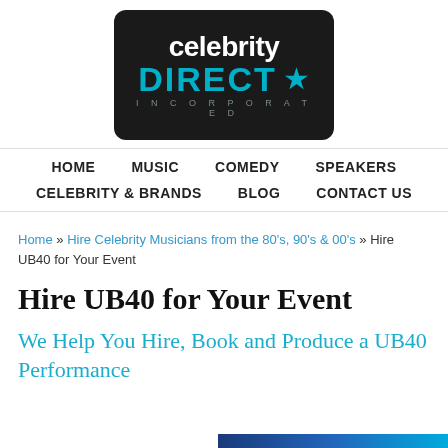[Figure (logo): Celebrity Direct Incorporated logo — dark rounded rectangle background, 'celebrity' in white bold text, 'DIRECT' in large teal bold letters with a teal star, 'INCORPORATED' in small spaced gray letters below]
HOME  MUSIC  COMEDY  SPEAKERS  CELEBRITY & BRANDS  BLOG  CONTACT US
Home » Hire Celebrity Musicians from the 80's, 90's & 00's » Hire UB40 for Your Event
Hire UB40 for Your Event
We Help You Hire, Book and Produce a UB40 Performance